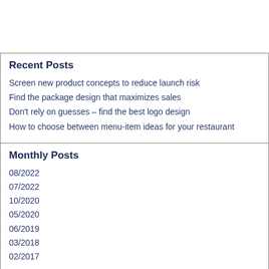Recent Posts
Screen new product concepts to reduce launch risk
Find the package design that maximizes sales
Don't rely on guesses – find the best logo design
How to choose between menu-item ideas for your restaurant
Monthly Posts
08/2022
07/2022
10/2020
05/2020
06/2019
03/2018
02/2017